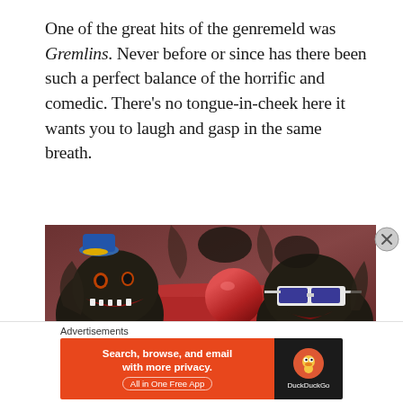One of the great hits of the genremeld was Gremlins. Never before or since has there been such a perfect balance of the horrific and comedic. There’s no tongue-in-cheek here it wants you to laugh and gasp in the same breath.
[Figure (photo): A close-up photo of Gremlin puppet creatures from the movie Gremlins. One gremlin on the left has its mouth open showing teeth. One on the right is wearing 3D glasses. They appear menacing with scaly skin and wings visible in the background.]
Advertisements
[Figure (other): DuckDuckGo advertisement banner. Left side is orange with text: Search, browse, and email with more privacy. All in One Free App. Right side is dark/black with the DuckDuckGo duck logo and text DuckDuckGo.]